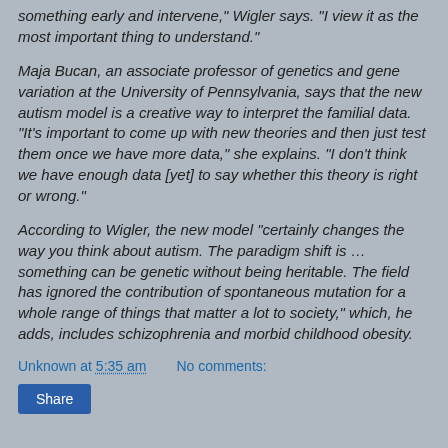something early and intervene," Wigler says. "I view it as the most important thing to understand."
Maja Bucan, an associate professor of genetics and gene variation at the University of Pennsylvania, says that the new autism model is a creative way to interpret the familial data. "It's important to come up with new theories and then just test them once we have more data," she explains. "I don't think we have enough data [yet] to say whether this theory is right or wrong."
According to Wigler, the new model "certainly changes the way you think about autism. The paradigm shift is … something can be genetic without being heritable. The field has ignored the contribution of spontaneous mutation for a whole range of things that matter a lot to society," which, he adds, includes schizophrenia and morbid childhood obesity.
Unknown at 5:35 am    No comments: